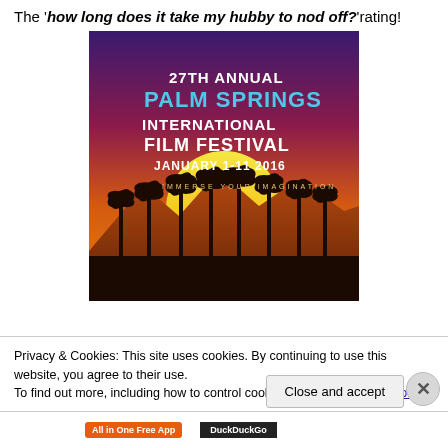The 'how long does it take my hubby to nod off?' rating!
[Figure (illustration): 27th Annual Palm Springs International Film Festival promotional poster. Purple to orange gradient background with yellow sun, silhouetted palm trees and mountains. Text: 27TH ANNUAL PALM SPRINGS INTERNATIONAL FILM FESTIVAL JANUARY 1-11 2016, IMMERSE YOUR IMAGINATION.]
Privacy & Cookies: This site uses cookies. By continuing to use this website, you agree to their use.
To find out more, including how to control cookies, see here: Cookie Policy
Close and accept